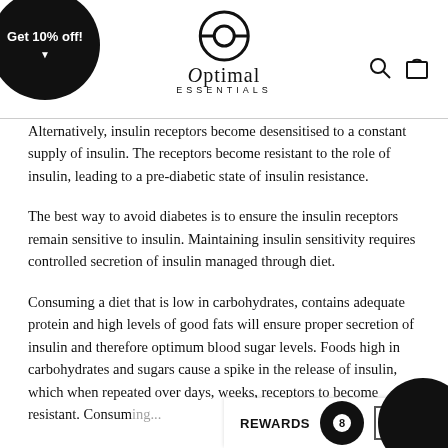[Figure (logo): Optimal Essentials logo with circular arrow icon above the brand name]
Alternatively, insulin receptors become desensitised to a constant supply of insulin. The receptors become resistant to the role of insulin, leading to a pre-diabetic state of insulin resistance.
The best way to avoid diabetes is to ensure the insulin receptors remain sensitive to insulin. Maintaining insulin sensitivity requires controlled secretion of insulin managed through diet.
Consuming a diet that is low in carbohydrates, contains adequate protein and high levels of good fats will ensure proper secretion of insulin and therefore optimum blood sugar levels. Foods high in carbohydrates and sugars cause a spike in the release of insulin, which when repeated over days, weeks... receptors to become resistant. Consuming...